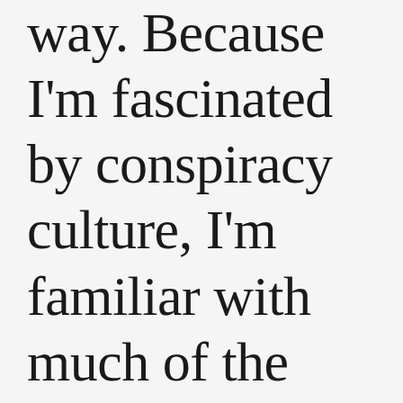way. Because I'm fascinated by conspiracy culture, I'm familiar with much of the same information the